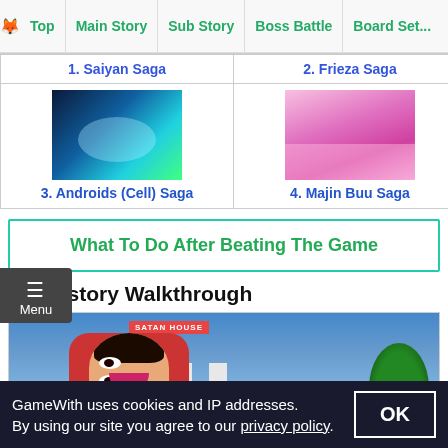Top | Main Story | Sub Story | Boss Battle | Board Set...
| 1. Saiyan Saga | 2. Frieza Saga |
| [image: Androids Cell Saga scene] | [image: Majin Buu Saga scene] |
| 3. Androids (Cell) Saga | 4. Majin Buu Saga |
What To Do After Beating The Game
Sub story Walkthrough
[Figure (screenshot): Screenshot from Dragon Ball Z: Kakarot showing Mr. Satan in front of Satan House with trees and pillars in background]
GameWith uses cookies and IP addresses. By using our site you agree to our privacy policy.